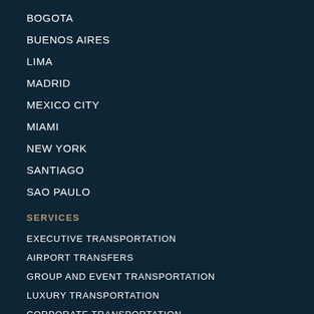BOGOTA
BUENOS AIRES
LIMA
MADRID
MEXICO CITY
MIAMI
NEW YORK
SANTIAGO
SAO PAULO
SERVICES
EXECUTIVE TRANSPORTATION
AIRPORT TRANSFERS
GROUP AND EVENT TRANSPORTATION
LUXURY TRANSPORTATION
CORPORATE TRANSPORTATION
CONTACT US